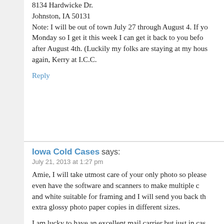8134 Hardwicke Dr.
Johnston, IA 50131
Note: I will be out of town July 27 through August 4. If yo... Monday so I get it this week I can get it back to you befo... after August 4th. (Luckily my folks are staying at my hous... again, Kerry at I.C.C.
Reply
Iowa Cold Cases says:
July 21, 2013 at 1:27 pm
Amie, I will take utmost care of your only photo so please... even have the software and scanners to make multiple c... and white suitable for framing and I will send you back th... extra glossy photo paper copies in different sizes.
I am lucky to have an excellent mail carrier but just in cas... mail it. We never know when the post office will lose som... happen but better safe than sorry.)
It is a terrific idea getting it scanned but also I know it's e... where you go. So…if you can't get it scanned into digital... pharmacy, would please mail it to me? I will let you know... mail to me arrived in just a couple days). then let you kn...